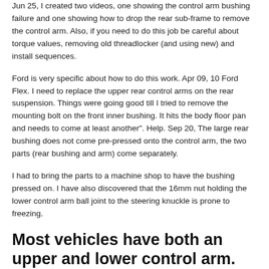Jun 25, I created two videos, one showing the control arm bushing failure and one showing how to drop the rear sub-frame to remove the control arm. Also, if you need to do this job be careful about torque values, removing old threadlocker (and using new) and install sequences.
Ford is very specific about how to do this work. Apr 09, 10 Ford Flex. I need to replace the upper rear control arms on the rear suspension. Things were going good till I tried to remove the mounting bolt on the front inner bushing. It hits the body floor pan and needs to come at least another". Help. Sep 20, The large rear bushing does not come pre-pressed onto the control arm, the two parts (rear bushing and arm) come separately.
I had to bring the parts to a machine shop to have the bushing pressed on. I have also discovered that the 16mm nut holding the lower control arm ball joint to the steering knuckle is prone to freezing.
Most vehicles have both an upper and lower control arm.